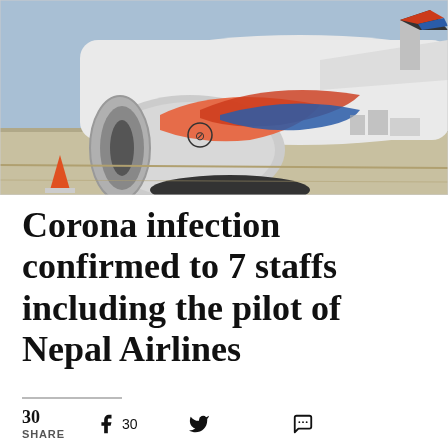[Figure (photo): Close-up photo of a Nepal Airlines aircraft jet engine with red, orange, and blue swoosh livery design on the nacelle, photographed on a tarmac with the fuselage and wing visible in the background under a blue sky.]
Corona infection confirmed to 7 staffs including the pilot of Nepal Airlines
30 SHARE   30